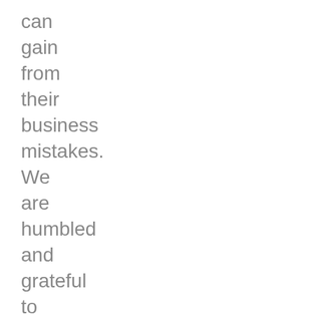can
gain
from
their
business
mistakes.
We
are
humbled
and
grateful
to
you
all
for
your
input